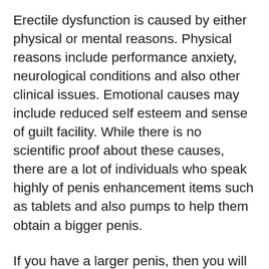Erectile dysfunction is caused by either physical or mental reasons. Physical reasons include performance anxiety, neurological conditions and also other clinical issues. Emotional causes may include reduced self esteem and sense of guilt facility. While there is no scientific proof about these causes, there are a lot of individuals who speak highly of penis enhancement items such as tablets and also pumps to help them obtain a bigger penis.
If you have a larger penis, then you will certainly additionally gain even more sexual confidence. Having the ability to increase the girth of your penis will certainly offer you extra control over when and where you have sex. You will also have the ability to utilize